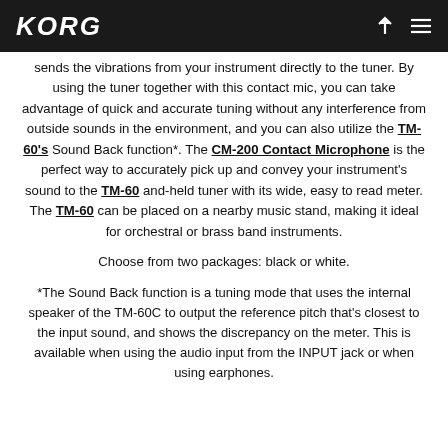KORG
sends the vibrations from your instrument directly to the tuner. By using the tuner together with this contact mic, you can take advantage of quick and accurate tuning without any interference from outside sounds in the environment, and you can also utilize the TM-60's Sound Back function*. The CM-200 Contact Microphone is the perfect way to accurately pick up and convey your instrument's sound to the TM-60 and-held tuner with its wide, easy to read meter. The TM-60 can be placed on a nearby music stand, making it ideal for orchestral or brass band instruments.
Choose from two packages: black or white.
*The Sound Back function is a tuning mode that uses the internal speaker of the TM-60C to output the reference pitch that's closest to the input sound, and shows the discrepancy on the meter. This is available when using the audio input from the INPUT jack or when using earphones.